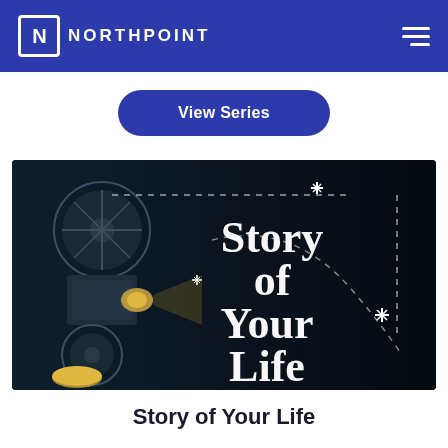NORTHPOINT
View Series
[Figure (screenshot): Dark cinematic image featuring a vintage film projector on the left with the text 'Story of Your Life' displayed in large white serif font in the center-right. Dashed lines and sparkle/star decorative elements are scattered across the dark background.]
Story of Your Life